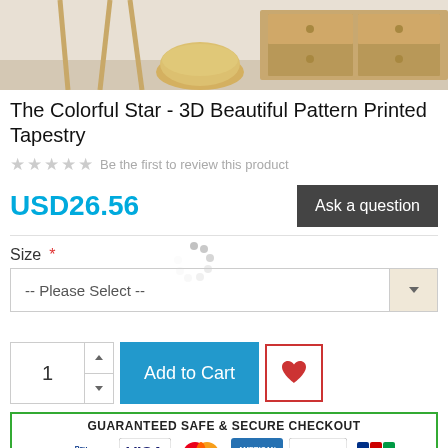[Figure (photo): Product photo showing a room scene with a wooden dresser, knitted pouf, and chair legs on a light floor.]
The Colorful Star - 3D Beautiful Pattern Printed Tapestry
★★★★★ Be the first to review this product
USD26.56
Ask a question
Size *
-- Please Select --
1
Add to Cart
GUARANTEED SAFE & SECURE CHECKOUT
[Figure (logo): Payment logos: PayPal, VISA, Mastercard, American Express, Discover, JCB]